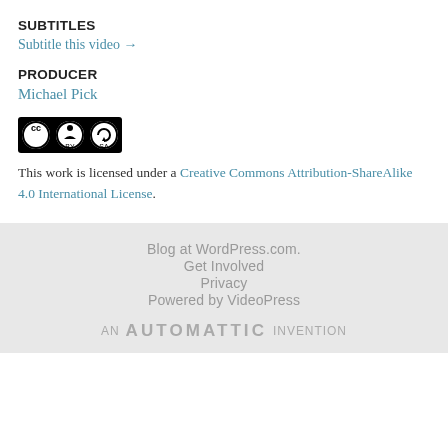SUBTITLES
Subtitle this video →
PRODUCER
Michael Pick
[Figure (logo): Creative Commons CC BY SA badge/logo]
This work is licensed under a Creative Commons Attribution-ShareAlike 4.0 International License.
Blog at WordPress.com.
Get Involved
Privacy
Powered by VideoPress
AN AUTOMATTIC INVENTION